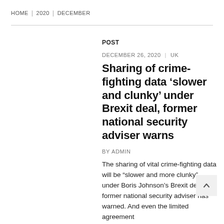HOME | 2020 | DECEMBER
POST
DECEMBER 26, 2020 | UK
Sharing of crime-fighting data ‘slower and clunky’ under Brexit deal, former national security adviser warns
BY ADMIN
The sharing of vital crime-fighting data will be “slower and more clunky” under Boris Johnson’s Brexit deal, a former national security adviser has warned. And even the limited agreement